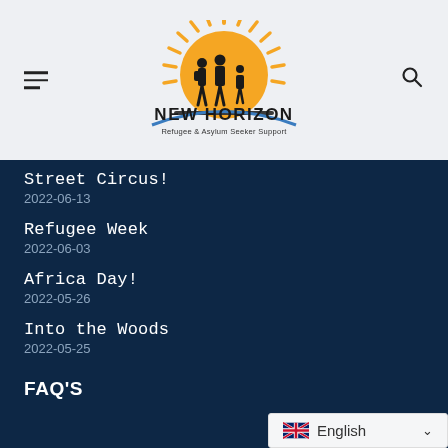[Figure (logo): New Horizon Refugee & Asylum Seeker Support logo with orange sunburst and silhouette of family walking]
Street Circus!
2022-06-13
Refugee Week
2022-06-03
Africa Day!
2022-05-26
Into the Woods
2022-05-25
FAQ'S